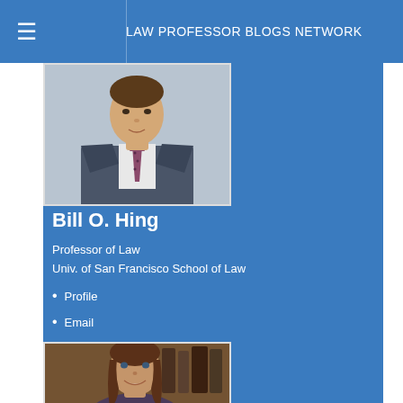LAW PROFESSOR BLOGS NETWORK
[Figure (photo): Profile photo of Bill O. Hing, a man in a suit and tie]
Bill O. Hing
Professor of Law
Univ. of San Francisco School of Law
Profile
Email
[Figure (photo): Profile photo of a woman with long brown hair, smiling]